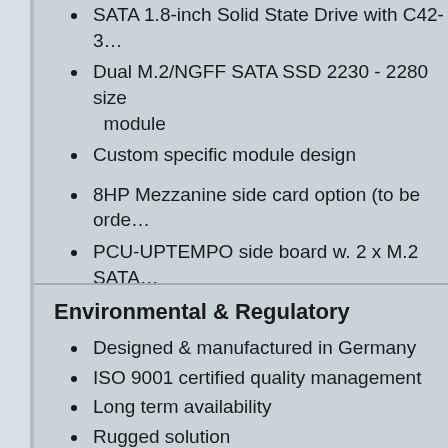SATA 1.8-inch Solid State Drive with C42-3…
Dual M.2/NGFF SATA SSD 2230 - 2280 size module
Custom specific module design
8HP Mezzanine side card option (to be ordered…)
PCU-UPTEMPO side board w. 2 x M.2 SATA…
2.5-inch SATA SSD/HDD available with C44…
Custom specific side card design
Environmental & Regulatory
Designed & manufactured in Germany
ISO 9001 certified quality management
Long term availability
Rugged solution
Coating, sealing, underfilling on request